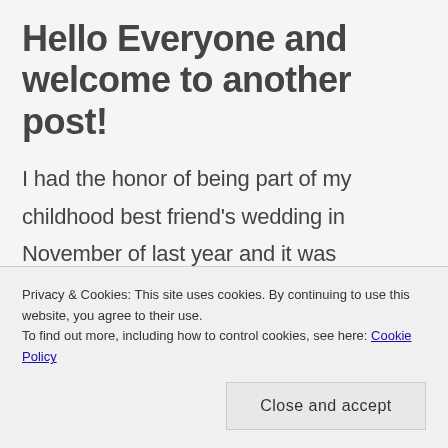Hello Everyone and welcome to another post!
I had the honor of being part of my childhood best friend's wedding in November of last year and it was exhausting! I had been the flower-girl in a family friend's wedding when I was like 5, so obviously I was a little unaware as to how much work I would be doing as a bridesmaid. I'm honestly not sure why I was so shocked at the
Privacy & Cookies: This site uses cookies. By continuing to use this website, you agree to their use.
To find out more, including how to control cookies, see here: Cookie Policy
Close and accept